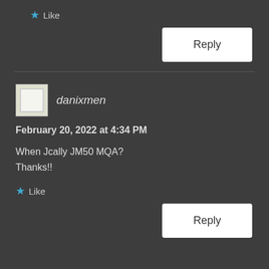★ Like
Reply
danixmen
February 20, 2022 at 4:34 PM
When Jcally JM50 MQA?
Thanks!!
★ Like
Reply